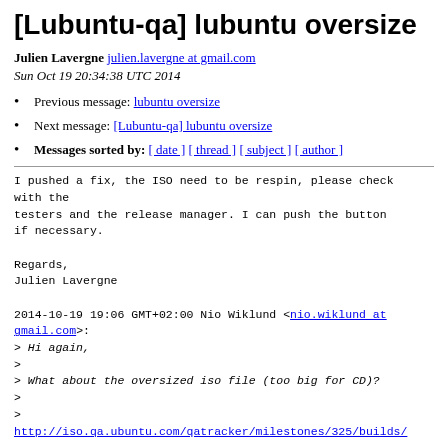[Lubuntu-qa] lubuntu oversize
Julien Lavergne julien.lavergne at gmail.com
Sun Oct 19 20:34:38 UTC 2014
Previous message: lubuntu oversize
Next message: [Lubuntu-qa] lubuntu oversize
Messages sorted by: [ date ] [ thread ] [ subject ] [ author ]
I pushed a fix, the ISO need to be respin, please check with the
testers and the release manager. I can push the button if necessary.

Regards,
Julien Lavergne

2014-10-19 19:06 GMT+02:00 Nio Wiklund <nio.wiklund at gmail.com>:
> Hi again,
>
> What about the oversized iso file (too big for CD)?
>
>
http://iso.qa.ubuntu.com/qatracker/milestones/325/builds/